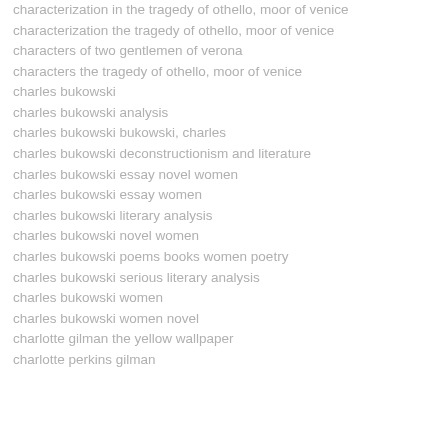characterization in the tragedy of othello, moor of venice
characterization the tragedy of othello, moor of venice
characters of two gentlemen of verona
characters the tragedy of othello, moor of venice
charles bukowski
charles bukowski analysis
charles bukowski bukowski, charles
charles bukowski deconstructionism and literature
charles bukowski essay novel women
charles bukowski essay women
charles bukowski literary analysis
charles bukowski novel women
charles bukowski poems books women poetry
charles bukowski serious literary analysis
charles bukowski women
charles bukowski women novel
charlotte gilman the yellow wallpaper
charlotte perkins gilman